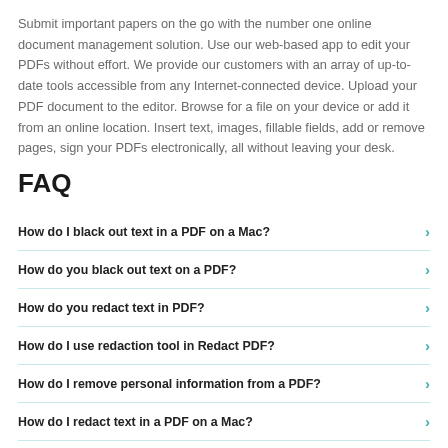Submit important papers on the go with the number one online document management solution. Use our web-based app to edit your PDFs without effort. We provide our customers with an array of up-to-date tools accessible from any Internet-connected device. Upload your PDF document to the editor. Browse for a file on your device or add it from an online location. Insert text, images, fillable fields, add or remove pages, sign your PDFs electronically, all without leaving your desk.
FAQ
How do I black out text in a PDF on a Mac?
How do you black out text on a PDF?
How do you redact text in PDF?
How do I use redaction tool in Redact PDF?
How do I remove personal information from a PDF?
How do I redact text in a PDF on a Mac?